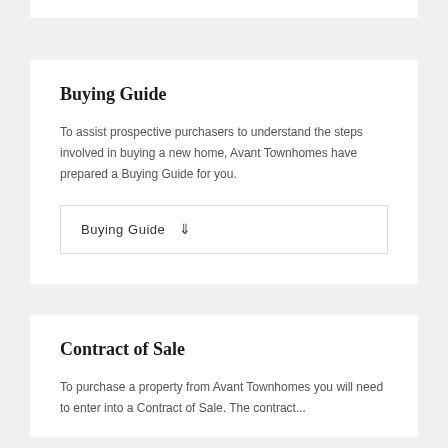Buying Guide
To assist prospective purchasers to understand the steps involved in buying a new home, Avant Townhomes have prepared a Buying Guide for you.
Buying Guide ↓
Contract of Sale
To purchase a property from Avant Townhomes you will need to enter into a Contract of Sale. The contract...